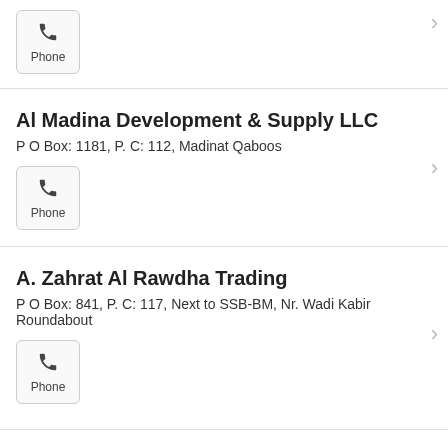[Figure (other): Phone button icon with label 'Phone' in a bordered box]
Al Madina Development & Supply LLC
P O Box: 1181, P. C: 112, Madinat Qaboos
[Figure (other): Phone button icon with label 'Phone' in a bordered box]
A. Zahrat Al Rawdha Trading
P O Box: 841, P. C: 117, Next to SSB-BM, Nr. Wadi Kabir Roundabout
[Figure (other): Phone button icon with label 'Phone' in a bordered box]